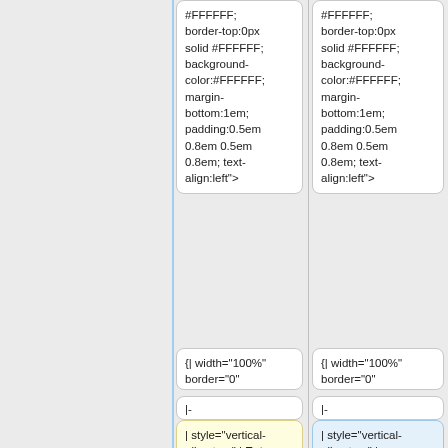#FFFFFF; border-top:0px solid #FFFFFF; background-color:#FFFFFF; margin-bottom:1em; padding:0.5em 0.8em 0.5em 0.8em; text-align:left">
#FFFFFF; border-top:0px solid #FFFFFF; background-color:#FFFFFF; margin-bottom:1em; padding:0.5em 0.8em 0.5em 0.8em; text-align:left">
{| width="100%" border="0"
{| width="100%" border="0"
|-
|-
| style="vertical-align:top;" | Esta wiki contiene '''{{NUMBEROFPAGES}} páginas''', que han sido
| style="vertical-align:top;" | <toptenpages offset="0">5</toptenpages>